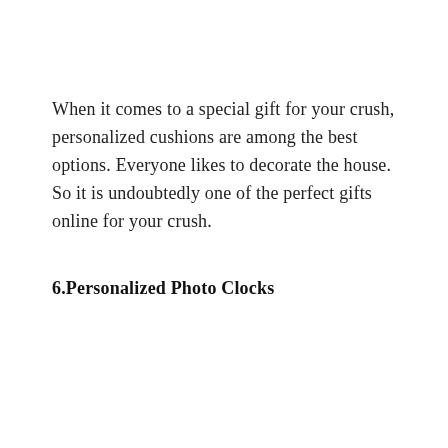When it comes to a special gift for your crush, personalized cushions are among the best options. Everyone likes to decorate the house. So it is undoubtedly one of the perfect gifts online for your crush.
6.Personalized Photo Clocks